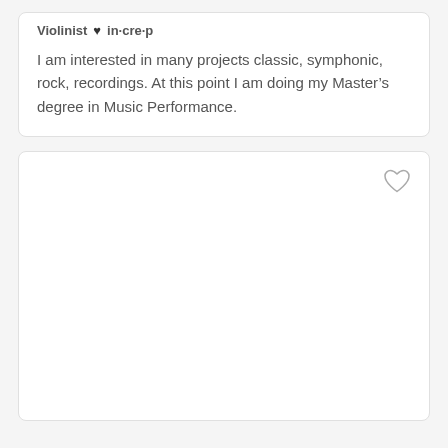Violinist ♥ in·cre·p
I am interested in many projects classic, symphonic, rock, recordings. At this point I am doing my Master's degree in Music Performance.
[Figure (other): Empty card with an outlined heart icon in the upper right corner]